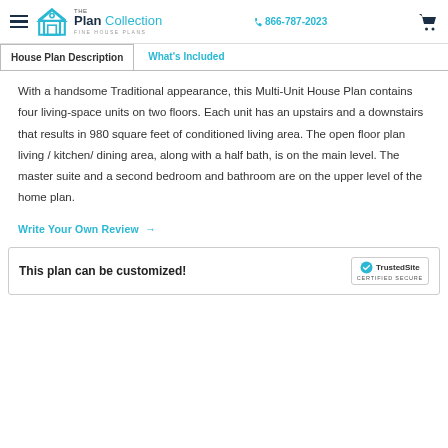The Plan Collection FINE HOUSE PLANS | 866-787-2023
House Plan Description | What's Included
With a handsome Traditional appearance, this Multi-Unit House Plan contains four living-space units on two floors. Each unit has an upstairs and a downstairs that results in 980 square feet of conditioned living area. The open floor plan living / kitchen/ dining area, along with a half bath, is on the main level. The master suite and a second bedroom and bathroom are on the upper level of the home plan.
Write Your Own Review →
This plan can be customized!